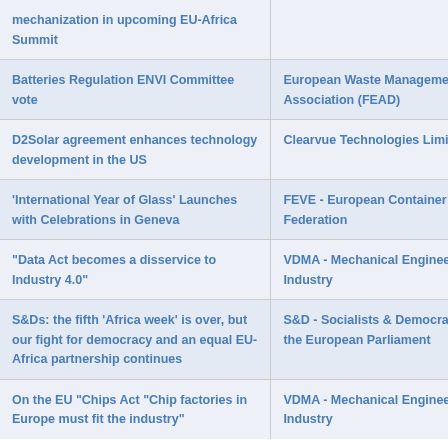| Topic | Organization |
| --- | --- |
| mechanization in upcoming EU-Africa Summit |  |
| Batteries Regulation ENVI Committee vote | European Waste Management Association (FEAD) |
| D2Solar agreement enhances technology development in the US | Clearvue Technologies Limited |
| 'International Year of Glass' Launches with Celebrations in Geneva | FEVE - European Container Glass Federation |
| "Data Act becomes a disservice to Industry 4.0" | VDMA - Mechanical Engineering Industry |
| S&Ds: the fifth 'Africa week' is over, but our fight for democracy and an equal EU-Africa partnership continues | S&D - Socialists & Democrats in the European Parliament |
| On the EU "Chips Act "Chip factories in Europe must fit the industry" | VDMA - Mechanical Engineering Industry |